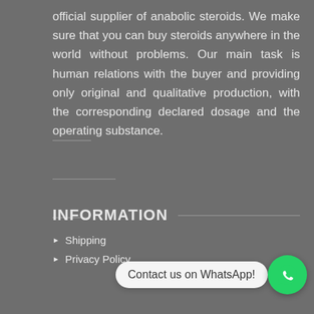official supplier of anabolic steroids. We make sure that you can buy steroids anywhere in the world without problems. Our main task is human relations with the buyer and providing only original and qualitative production, with the corresponding declared dosage and the operating substance.
INFORMATION
Shipping
Privacy Policy
[Figure (other): WhatsApp contact button with speech bubble saying 'Contact us on WhatsApp!' and green WhatsApp icon]